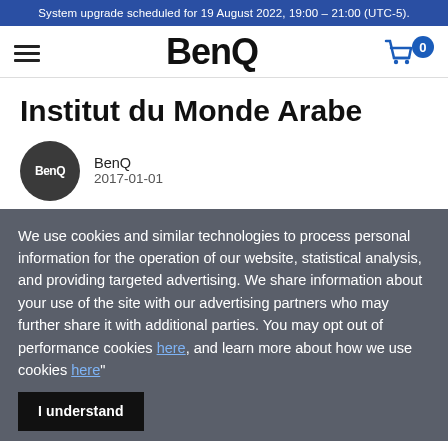System upgrade scheduled for 19 August 2022, 19:00 – 21:00 (UTC-5).
[Figure (logo): BenQ logo with hamburger menu and shopping cart icon showing 0 items]
Institut du Monde Arabe
BenQ
2017-01-01
We use cookies and similar technologies to process personal information for the operation of our website, statistical analysis, and providing targeted advertising. We share information about your use of the site with our advertising partners who may further share it with additional parties. You may opt out of performance cookies here, and learn more about how we use cookies here"
I understand